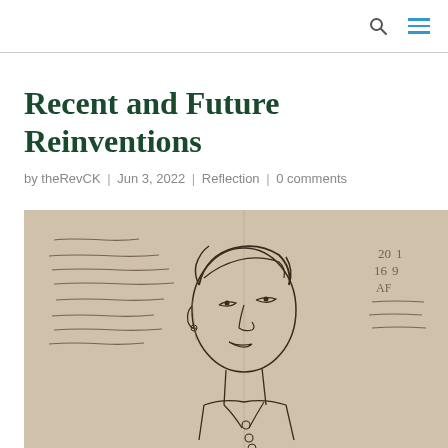search and menu icons
Recent and Future Reinventions
by theRevCK | Jun 3, 2022 | Reflection | 0 comments
[Figure (illustration): Pencil sketch drawing of a person's portrait (head and shoulders) with handwritten notes visible on both sides of the figure. Notes on left side appear to include words about collection and directions. Numbers visible on right side: 20, 16, AF. The drawing is done in dark pencil on beige/tan paper.]